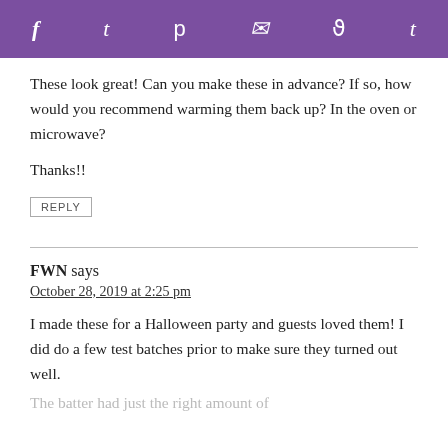f  t  p  [mail]  [reddit]  t
These look great! Can you make these in advance? If so, how would you recommend warming them back up? In the oven or microwave?

Thanks!!
REPLY
FWN says
October 28, 2019 at 2:25 pm
I made these for a Halloween party and guests loved them! I did do a few test batches prior to make sure they turned out well.
The batter had just the right amount of